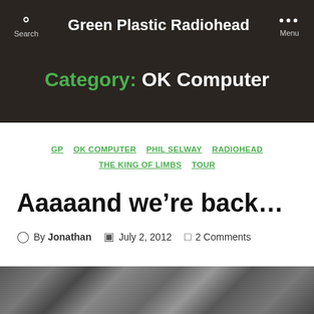Green Plastic Radiohead
Category: OK Computer
GP  OK COMPUTER  PHIL SELWAY  RADIOHEAD  THE KING OF LIMBS  TOUR
Aaaaand we're back...
By Jonathan  July 2, 2012  2 Comments
[Figure (photo): Black and white photograph strip at the bottom of the page]